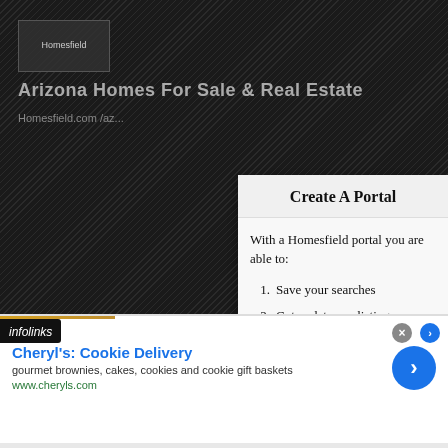[Figure (screenshot): Dark diagonal striped website background for Homesfield real estate website showing Arizona Homes For Sale & Real Estate]
Create A Portal
With a Homesfield portal you are able to:
1. Save your searches
2. Get updates on listings
3. Track listings
4. Add notes and messages
5. Personalize your dashboard
[Figure (screenshot): infolinks advertisement banner at bottom of page]
Cheryl's: Cookie Delivery
gourmet brownies, cakes, cookies and cookie gift baskets
www.cheryls.com